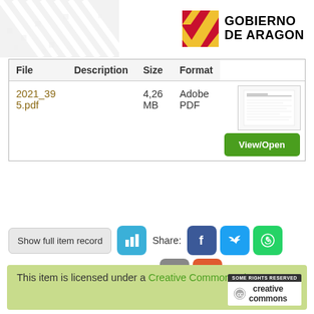[Figure (logo): Gobierno de Aragon official logo with red and yellow crossed diagonal stripes emblem]
| File | Description | Size | Format |  |
| --- | --- | --- | --- | --- |
| 2021_39 5.pdf |  | 4,26 MB | Adobe PDF | View/Open |
Show full item record
Share:
This item is licensed under a Creative Commons License